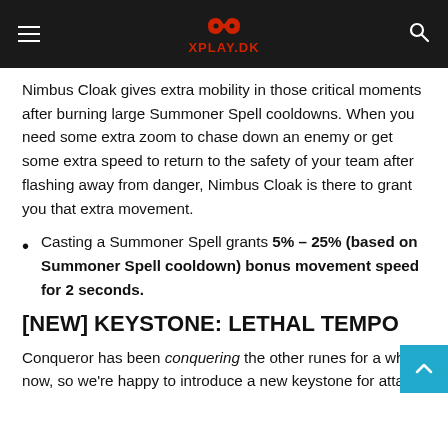XPLAY.DK
Nimbus Cloak gives extra mobility in those critical moments after burning large Summoner Spell cooldowns. When you need some extra zoom to chase down an enemy or get some extra speed to return to the safety of your team after flashing away from danger, Nimbus Cloak is there to grant you that extra movement.
Casting a Summoner Spell grants 5% – 25% (based on Summoner Spell cooldown) bonus movement speed for 2 seconds.
[NEW] KEYSTONE: LETHAL TEMPO
Conqueror has been conquering the other runes for a while now, so we're happy to introduce a new keystone for attack-